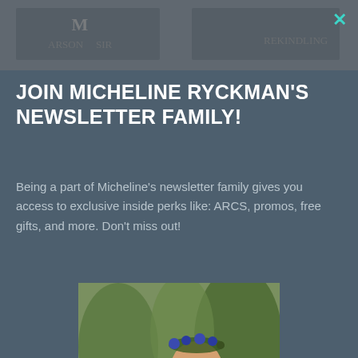[Figure (screenshot): Background header image with book title text partially visible, dark overlay]
JOIN MICHELINE RYCKMAN'S NEWSLETTER FAMILY!
Being a part of Micheline's newsletter family gives you access to exclusive inside perks like: ARCS, promos, free gifts, and more. Don't miss out!
[Figure (photo): Young woman with flower crown sitting outdoors with a dog, holding a book, wearing a green jacket]
johnsmith@example.com
John
Smith